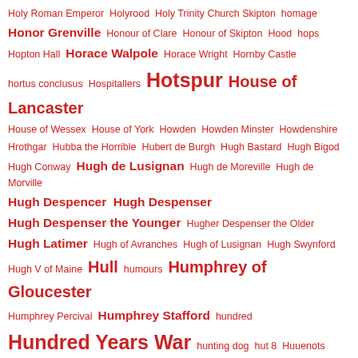Holy Roman Emperor  Holyrood  Holy Trinity Church Skipton  homage  Honor Grenville  Honour of Clare  Honour of Skipton  Hood  hops  Hopton Hall  Horace Walpole  Horace Wright  Hornby Castle  hortus conclusus  Hospitallers  Hotspur  House of Lancaster  House of Wessex  House of York  Howden  Howden Minster  Howdenshire  Hrothgar  Hubba the Horrible  Hubert de Burgh  Hugh Bastard  Hugh Bigod  Hugh Conway  Hugh de Lusignan  Hugh de Moreville  Hugh de Morville  Hugh Despencer  Hugh Despenser  Hugh Despenser the Younger  Hugher Despenser the Older  Hugh Latimer  Hugh of Avranches  Hugh of Lusignan  Hugh Swynford  Hugh V of Maine  Hull  humours  Humphrey of Gloucester  Humphrey Percival  Humphrey Stafford  hundred  Hundred Years War  hunting dog  hut 8  Huuenots  hyaena  Hélias of Saint-Saëns  Ian Mortimer  iconoclasm  Ida de Tosny  Idonea de Vieuxpont  Idonea de Vipont  Ilbert de Lacy  illegitimate children of Henry VIII  illegitimate son of the Earl of Leicester  Immortal Seven  Imperial ambassador  imperial coins  Impositions  Ine  Inigo Jones  Ipswich  Ireland  Irish Brigade  Irish Jacobites